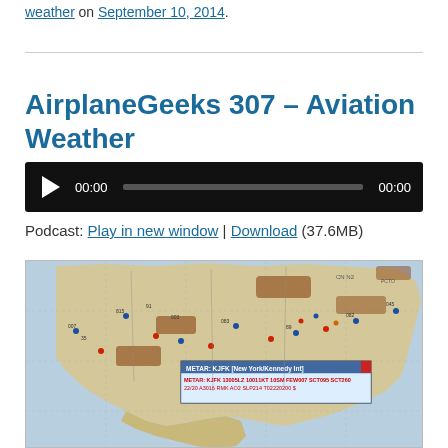weather on September 10, 2014.
AirplaneGeeks 307 – Aviation Weather
[Figure (other): Audio player widget with play button, progress bar, and timestamps 00:00 and 00:00 on black background]
Podcast: Play in new window | Download (37.6MB)
[Figure (map): Aviation weather map of North America showing METAR data with a popup for KJFK (New York/Kennedy Intl) reading: METAR KJFK 130051Z 10011KT 10SM FEW007 SCT095 SCT260 22/20 A3016 RMK AO2 SLP214 T02220200]